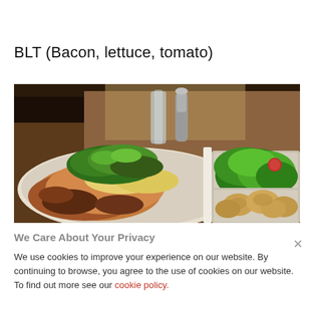BLT (Bacon, lettuce, tomato)
[Figure (photo): Close-up photo of a BLT dish: open-faced sandwich with bacon and garnish on a white plate, alongside a bowl of green salad with a red tomato and a bowl of small potatoes. Restaurant table setting with glassware in the background.]
We Care About Your Privacy
We use cookies to improve your experience on our website. By continuing to browse, you agree to the use of cookies on our website. To find out more see our cookie policy.